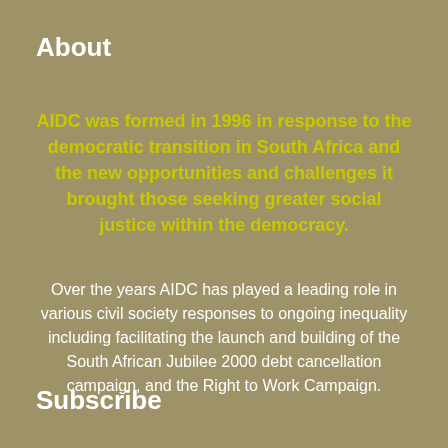About
AIDC was formed in 1996 in response to the democratic transition in South Africa and the new opportunities and challenges it brought those seeking greater social justice within the democracy.
Over the years AIDC has played a leading role in various civil society responses to ongoing inequality including facilitating the launch and building of the South African Jubilee 2000 debt cancellation campaign, and the Right to Work Campaign.
Subscribe